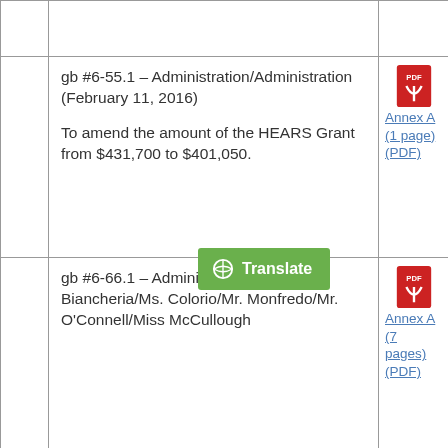|  | Item | Attachment |
| --- | --- | --- |
|  |  |  |
|  | gb #6-55.1 – Administration/Administration (February 11, 2016)

To amend the amount of the HEARS Grant from $431,700 to $401,050. | Annex A (1 page) (PDF) |
|  | gb #6-66.1 – Administration/Miss Biancheria/Ms. Colorio/Mr. Monfredo/Mr. O'Connell/Miss McCullough | Annex A (7 pages) (PDF) |